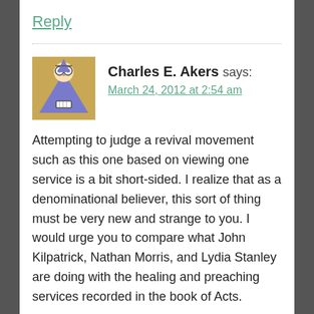Reply
Charles E. Akers says:
March 24, 2012 at 2:54 am
Attempting to judge a revival movement such as this one based on viewing one service is a bit short-sided. I realize that as a denominational believer, this sort of thing must be very new and strange to you. I would urge you to compare what John Kilpatrick, Nathan Morris, and Lydia Stanley are doing with the healing and preaching services recorded in the book of Acts.
You mentioned one service. No two of their